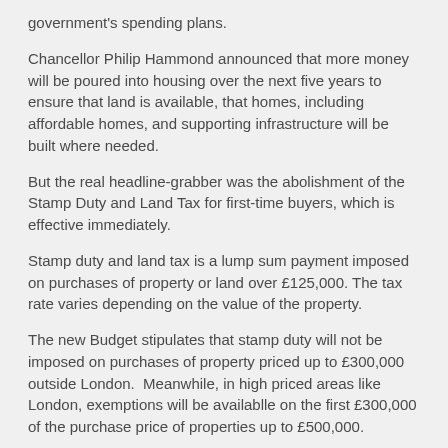government's spending plans.
Chancellor Philip Hammond announced that more money will be poured into housing over the next five years to ensure that land is available, that homes, including affordable homes, and supporting infrastructure will be built where needed.
But the real headline-grabber was the abolishment of the Stamp Duty and Land Tax for first-time buyers, which is effective immediately.
Stamp duty and land tax is a lump sum payment imposed on purchases of property or land over £125,000. The tax rate varies depending on the value of the property.
The new Budget stipulates that stamp duty will not be imposed on purchases of property priced up to £300,000 outside London.  Meanwhile, in high priced areas like London, exemptions will be availablle on the first £300,000 of the purchase price of properties up to £500,000.
The Chancellor said that this is effectively a stamp duty cut for 95% of first time buyers and that going forward 80% of first